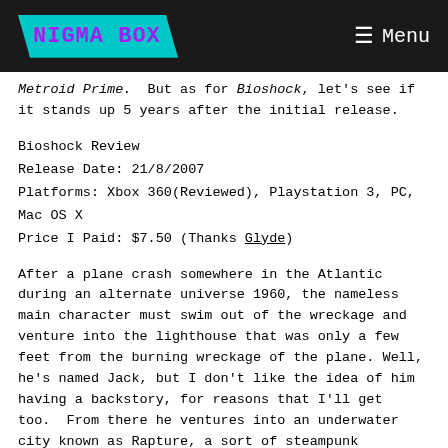NIGMA BOX   ☰ Menu
Metroid Prime.  But as for Bioshock, let's see if it stands up 5 years after the initial release.
Bioshock Review
Release Date: 21/8/2007
Platforms: Xbox 360(Reviewed), Playstation 3, PC, Mac OS X
Price I Paid: $7.50 (Thanks Glyde)
After a plane crash somewhere in the Atlantic during an alternate universe 1960, the nameless main character must swim out of the wreckage and venture into the lighthouse that was only a few feet from the burning wreckage of the plane.  Well, he's named Jack, but I don't like the idea of him having a backstory, for reasons that I'll get too.  From there he ventures into an underwater city known as Rapture, a sort of steampunk Atlantis that is based on 1950's culture, which I absolutely love!  Now, I admit to being bias on this, but I just love a good steampunk Atlantis.